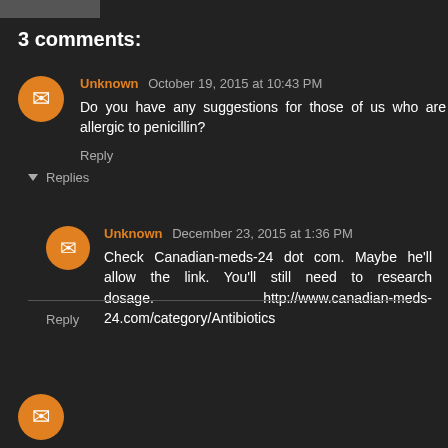3 comments:
Unknown October 19, 2015 at 10:43 PM
Do you have any suggestions for those of us who are allergic to penicillin?
Reply
Replies
Unknown December 23, 2015 at 1:36 PM
Check Canadian-meds-24 dot com. Maybe he'll allow the link. You'll still need to research dosage. http://www.canadian-meds-24.com/category/Antibiotics
Reply